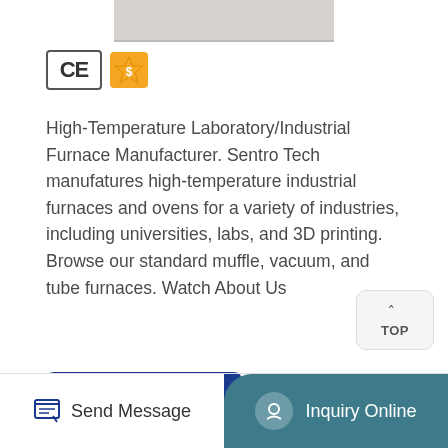[Figure (photo): Top portion of a furnace product image, light gray/beige color]
[Figure (logo): CE certification badge and gold supplier badge]
High-Temperature Laboratory/Industrial Furnace Manufacturer. Sentro Tech manufatures high-temperature industrial furnaces and ovens for a variety of industries, including universities, labs, and 3D printing. Browse our standard muffle, vacuum, and tube furnaces. Watch About Us
[Figure (other): TOP button with upward arrow caret]
[Figure (other): Get Details blue button]
Zochem Adds Furnace At Tenn. Facility Fouses On ...
[Figure (other): Send Message button in footer]
[Figure (other): Inquiry Online button in footer teal area]